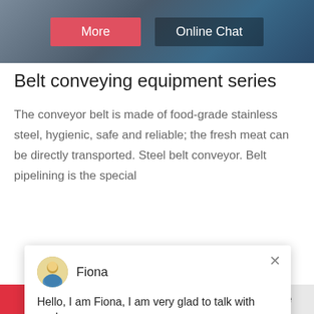[Figure (screenshot): Top navigation bar with building image background, 'More' red button and 'Online Chat' dark button]
Belt conveying equipment series
The conveyor belt is made of food-grade stainless steel, hygienic, safe and reliable; the fresh meat can be directly transported. Steel belt conveyor. Belt pipelining is the special
[Figure (screenshot): Chat popup with avatar of Fiona and message: Hello, I am Fiona, I am very glad to talk with you!]
[Figure (photo): Outdoor landscape/industrial area photo, gray tones]
[Figure (photo): Customer service representative with headset, with notification badge showing '1', and 'Need questions & suggestion? Chat Now' widget]
Chat Online
Enquire